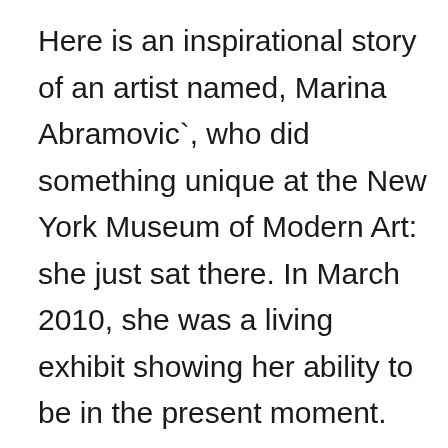Here is an inspirational story of an artist named, Marina Abramovic`, who did something unique at the New York Museum of Modern Art: she just sat there. In March 2010, she was a living exhibit showing her ability to be in the present moment.  She sat in a chair for six